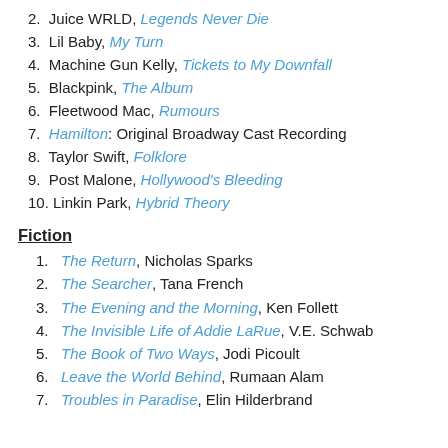2. Juice WRLD, Legends Never Die
3. Lil Baby, My Turn
4. Machine Gun Kelly, Tickets to My Downfall
5. Blackpink, The Album
6. Fleetwood Mac, Rumours
7. Hamilton: Original Broadway Cast Recording
8. Taylor Swift, Folklore
9. Post Malone, Hollywood's Bleeding
10. Linkin Park, Hybrid Theory
Fiction
1. The Return, Nicholas Sparks
2. The Searcher, Tana French
3. The Evening and the Morning, Ken Follett
4. The Invisible Life of Addie LaRue, V.E. Schwab
5. The Book of Two Ways, Jodi Picoult
6. Leave the World Behind, Rumaan Alam
7. Troubles in Paradise, Elin Hilderbrand